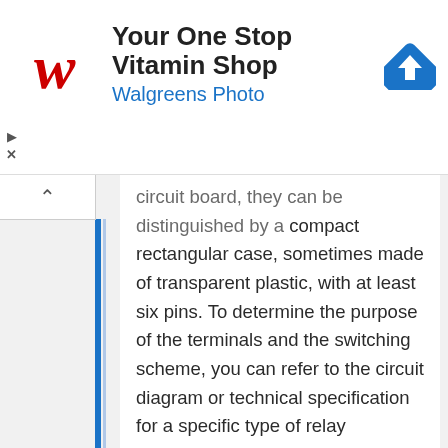[Figure (other): Walgreens advertisement banner: 'Your One Stop Vitamin Shop' with Walgreens logo (red cursive W), blue subtitle 'Walgreens Photo', and a blue navigation/map icon on the right. Close controls (triangle and X) on the left.]
circuit board, they can be distinguished by a compact rectangular case, sometimes made of transparent plastic, with at least six pins. To determine the purpose of the terminals and the switching scheme, you can refer to the circuit diagram or technical specification for a specific type of relay according to the marking on the case. You can make a test switch on the relay, for which the operating voltage is applied to the coil contacts, as a rule, it is indicated on the product case. The absence of a click when connecting is a clear sign of a burnt coil or stuck contacts. If a click is heard, but when the group of main